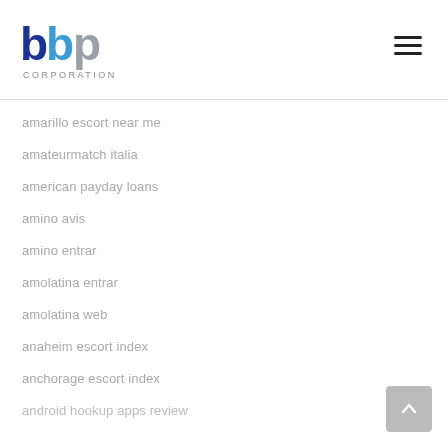[Figure (logo): BBP Corporation logo with blue and grey lettering and 'CORPORATION' subtitle]
amarillo escort near me
amateurmatch italia
american payday loans
amino avis
amino entrar
amolatina entrar
amolatina web
anaheim escort index
anchorage escort index
android hookup apps review